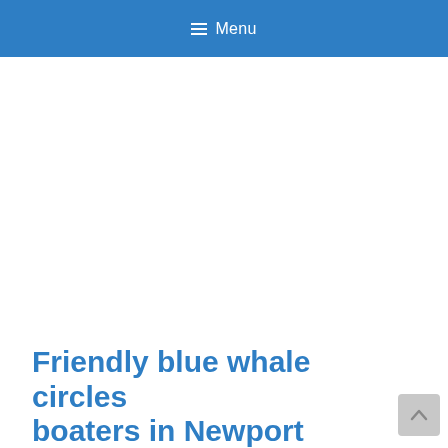≡ Menu
Friendly blue whale circles boaters in Newport Beach